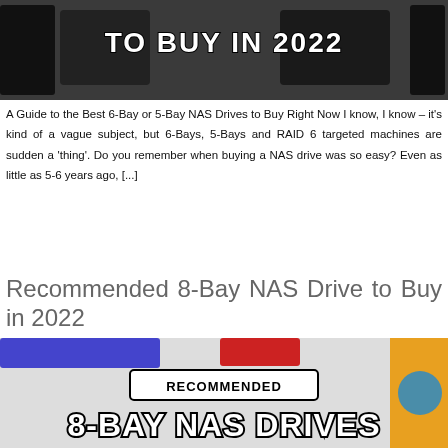[Figure (photo): Image with text overlay reading 'TO BUY IN 2022' showing NAS devices on a dark background]
A Guide to the Best 6-Bay or 5-Bay NAS Drives to Buy Right Now I know, I know – it's kind of a vague subject, but 6-Bays, 5-Bays and RAID 6 targeted machines are sudden a 'thing'. Do you remember when buying a NAS drive was so easy? Even as little as 5-6 years ago, [...]
Recommended 8-Bay NAS Drive to Buy in 2022
[Figure (photo): Image with text overlay reading 'RECOMMENDED 8-BAY NAS DRIVES' on a light background with NAS devices]